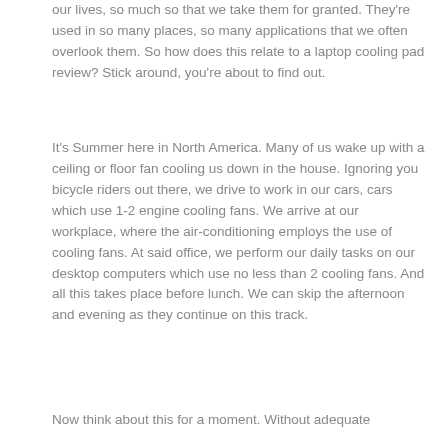our lives, so much so that we take them for granted. They're used in so many places, so many applications that we often overlook them. So how does this relate to a laptop cooling pad review? Stick around, you're about to find out.
It's Summer here in North America. Many of us wake up with a ceiling or floor fan cooling us down in the house. Ignoring you bicycle riders out there, we drive to work in our cars, cars which use 1-2 engine cooling fans. We arrive at our workplace, where the air-conditioning employs the use of cooling fans. At said office, we perform our daily tasks on our desktop computers which use no less than 2 cooling fans. And all this takes place before lunch. We can skip the afternoon and evening as they continue on this track.
Now think about this for a moment. Without adequate